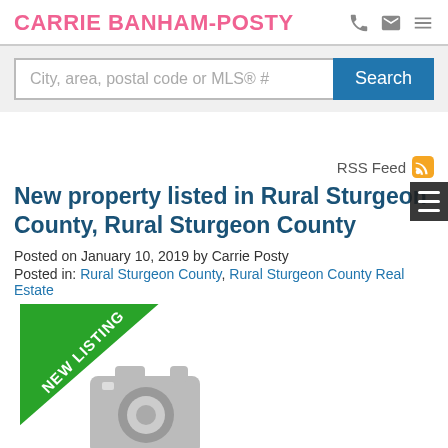CARRIE BANHAM-POSTY
City, area, postal code or MLS® #
RSS Feed
New property listed in Rural Sturgeon County, Rural Sturgeon County
Posted on January 10, 2019 by Carrie Posty
Posted in: Rural Sturgeon County, Rural Sturgeon County Real Estate
[Figure (photo): Property listing image placeholder with green NEW LISTING diagonal banner in top-left corner and a gray camera icon placeholder image]